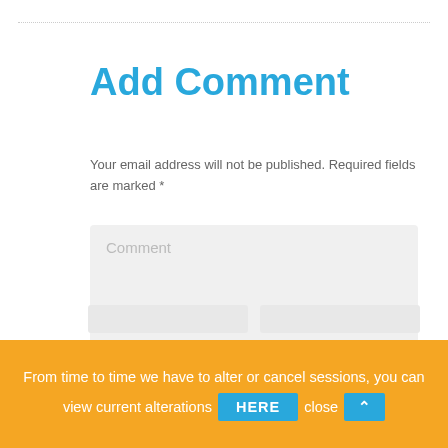Add Comment
Your email address will not be published. Required fields are marked *
[Figure (screenshot): Comment text input area (grey box with placeholder text 'Comment')]
From time to time we have to alter or cancel sessions, you can view current alterations HERE close